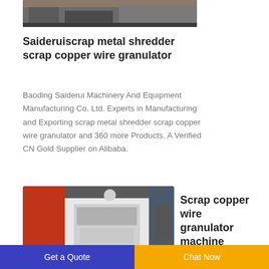[Figure (photo): Top partial image of industrial equipment/warehouse interior in grayscale]
Saideruiscrap metal shredder scrap copper wire granulator
Baoding Saiderui Machinery And Equipment Manufacturing Co. Ltd. Experts in Manufacturing and Exporting scrap metal shredder scrap copper wire granulator and 360 more Products. A Verified CN Gold Supplier on Alibaba.
[Figure (photo): Photo of a white scrap copper wire granulator machine in an industrial warehouse setting, with red machinery visible on the left]
Scrap copper wire granulator machine
Get a Quote   Chat Now